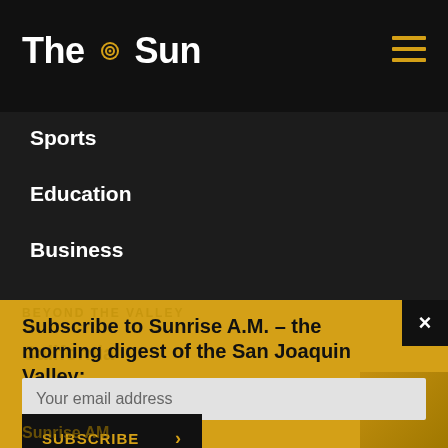The Sun
Sports
Education
Business
Subscribe to Sunrise A.M. – the morning digest of the San Joaquin Valley:
Your email address
SUBSCRIBE >
Sunrise AM